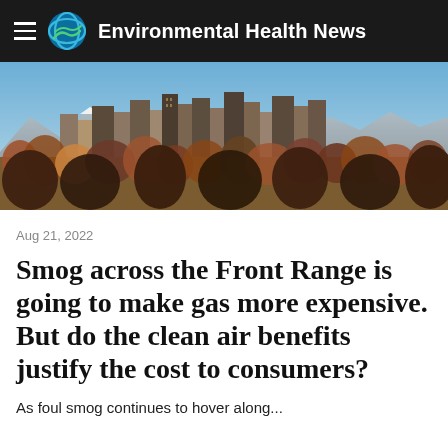Environmental Health News
[Figure (photo): City skyline with skyscrapers, trees in autumn colors, mountains in background, clear blue sky — Denver Front Range cityscape]
Aug 21, 2022
Smog across the Front Range is going to make gas more expensive. But do the clean air benefits justify the cost to consumers?
As foul smog continues to hover along...